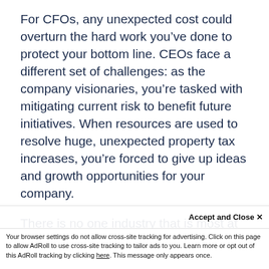For CFOs, any unexpected cost could overturn the hard work you've done to protect your bottom line. CEOs face a different set of challenges: as the company visionaries, you're tasked with mitigating current risk to benefit future initiatives. When resources are used to resolve huge, unexpected property tax increases, you're forced to give up ideas and growth opportunities for your company.
There is no one industry that is most at risk when it comes to an increase in our... happen to any
Accept and Close ✕
Your browser settings do not allow cross-site tracking for advertising. Click on this page to allow AdRoll to use cross-site tracking to tailor ads to you. Learn more or opt out of this AdRoll tracking by clicking here. This message only appears once.